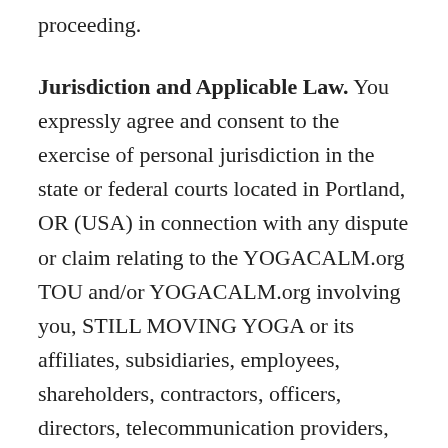proceeding.
Jurisdiction and Applicable Law. You expressly agree and consent to the exercise of personal jurisdiction in the state or federal courts located in Portland, OR (USA) in connection with any dispute or claim relating to the YOGACALM.org TOU and/or YOGACALM.org involving you, STILL MOVING YOGA or its affiliates, subsidiaries, employees, shareholders, contractors, officers, directors, telecommunication providers, and content providers. The YOGACALM.org TOU are